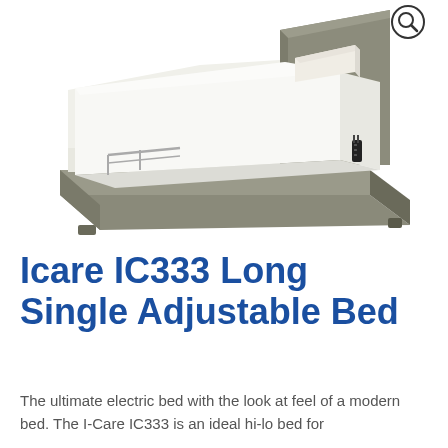[Figure (photo): Photo of the Icare IC333 Long Single Adjustable Bed — a grey upholstered single adjustable bed with white mattress and a small pillow on top, shown at an angle. A black remote control hangs on the side. A magnifying glass icon appears in the top-right corner of the image.]
Icare IC333 Long Single Adjustable Bed
The ultimate electric bed with the look at feel of a modern bed. The I-Care IC333 is an ideal hi-lo bed for